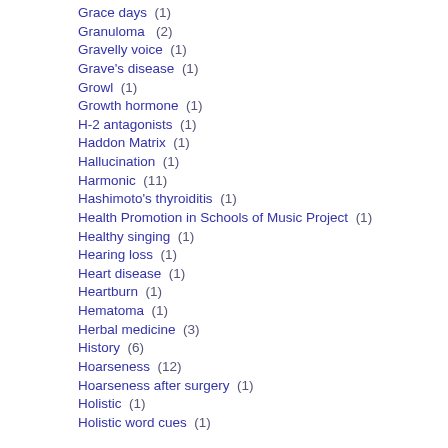Grace days  (1)
Granuloma  (2)
Gravelly voice  (1)
Grave's disease  (1)
Growl  (1)
Growth hormone  (1)
H-2 antagonists  (1)
Haddon Matrix  (1)
Hallucination  (1)
Harmonic  (11)
Hashimoto's thyroiditis  (1)
Health Promotion in Schools of Music Project  (1)
Healthy singing  (1)
Hearing loss  (1)
Heart disease  (1)
Heartburn  (1)
Hematoma  (1)
Herbal medicine  (3)
History  (6)
Hoarseness  (12)
Hoarseness after surgery  (1)
Holistic  (1)
Holistic word cues  (1)